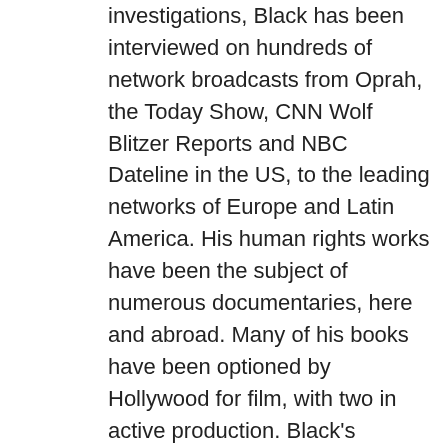investigations, Black has been interviewed on hundreds of network broadcasts from Oprah, the Today Show, CNN Wolf Blitzer Reports and NBC Dateline in the US, to the leading networks of Europe and Latin America. His human rights works have been the subject of numerous documentaries, here and abroad. Many of his books have been optioned by Hollywood for film, with two in active production. Black's speaking tours include hundreds of events in dozens of cities each year, appearing at prestigious venues from the Library of Congress in Washington, D.C. to the Simon Wiesenthal Institute in Los Angeles, also in Europe from London's British War Museum and Amsterdam's Institute for War Documentation to Munich's Carl Orff Hall. In recent times he has appeared to speak, lecture or testify numerous times in various legislatures on a variety of social justice issues: U.S. House of Representatives, North Carolina General Assembly regarding the necessity to pay African Americans reparations for forced sterilization,